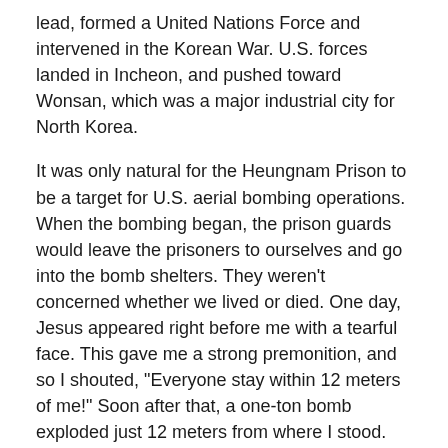lead, formed a United Nations Force and intervened in the Korean War. U.S. forces landed in Incheon, and pushed toward Wonsan, which was a major industrial city for North Korea.
It was only natural for the Heungnam Prison to be a target for U.S. aerial bombing operations. When the bombing began, the prison guards would leave the prisoners to ourselves and go into the bomb shelters. They weren't concerned whether we lived or died. One day, Jesus appeared right before me with a tearful face. This gave me a strong premonition, and so I shouted, "Everyone stay within 12 meters of me!" Soon after that, a one-ton bomb exploded just 12 meters from where I stood. The prisoners who had stayed closed to me survived.
As the bombing became more intense, guards began executing the prisoners. They would call out the numbers of prisoners and tell them to come with three days' food rations and a shovel. The prisoners assumed they were being moved to another prison, but they never returned.